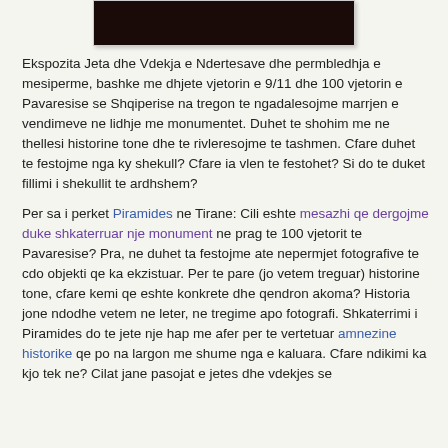[Figure (photo): Dark/black photo strip at the top of the page, partially visible, showing a dark scene.]
Ekspozita Jeta dhe Vdekja e Ndertesave dhe permbledhja e mesiperme, bashke me dhjete vjetorin e 9/11 dhe 100 vjetorin e Pavaresise se Shqiperise na tregon te ngadalesojme marrjen e vendimeve ne lidhje me monumentet. Duhet te shohim me ne thellesi historine tone dhe te rivleresojme te tashmen. Cfare duhet te festojme nga ky shekull? Cfare ia vlen te festohet? Si do te duket fillimi i shekullit te ardhshem?
Per sa i perket Piramides ne Tirane: Cili eshte mesazhi qe dergojme duke shkaterruar nje monument ne prag te 100 vjetorit te Pavaresise? Pra, ne duhet ta festojme ate nepermjet fotografive te cdo objekti qe ka ekzistuar. Per te pare (jo vetem treguar) historine tone, cfare kemi qe eshte konkrete dhe qendron akoma? Historia jone ndodhe vetem ne leter, ne tregime apo fotografi. Shkaterrimi i Piramides do te jete nje hap me afer per te vertetuar amnezine historike qe po na largon me shume nga e kaluara. Cfare ndikimi ka kjo tek ne? Cilat jane pasojat e jetes dhe vdekjes se